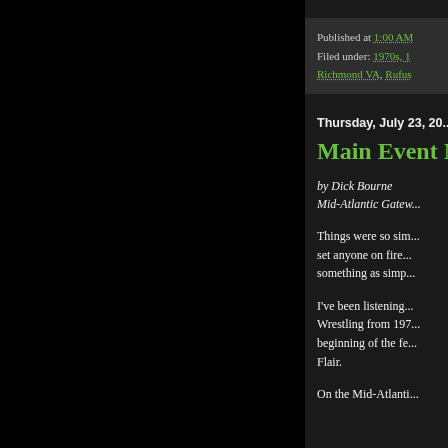Published at 1:00 AM
Filed under: 1970s, 1... Richmond VA, Rufus...
Thursday, July 23, 20...
Main Event M...
by Dick Bourne
Mid-Atlantic Gatew...
Things were so sim... set anyone on fire... something as simp...
I've been listening... Wrestling from 197... beginning of the fe... Flair.
On the Mid-Atlanti...